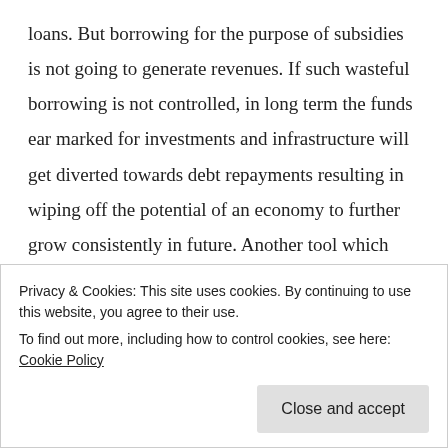loans. But borrowing for the purpose of subsidies is not going to generate revenues. If such wasteful borrowing is not controlled, in long term the funds ear marked for investments and infrastructure will get diverted towards debt repayments resulting in wiping off the potential of an economy to further grow consistently in future. Another tool which government has unlike us as individuals, it can print money to repay its loan. In short run the consequences are not visible, but printing money could horribly spiral up inflation owing to increased money supply in the economy.
Privacy & Cookies: This site uses cookies. By continuing to use this website, you agree to their use. To find out more, including how to control cookies, see here: Cookie Policy